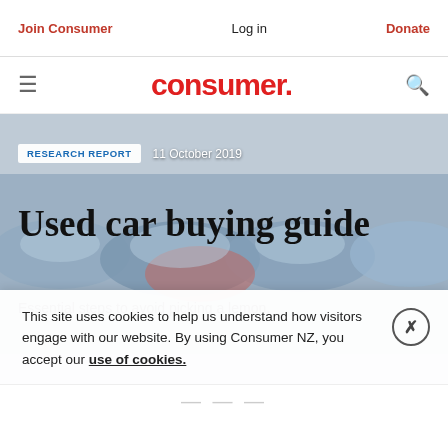Join Consumer | Log in | Donate
consumer.
[Figure (photo): A row of used cars parked in a dealership lot, shot from a low angle showing multiple vehicles in various colors]
RESEARCH REPORT   11 October 2019
Used car buying guide
Essential steps to avoid picking a lemon.
This site uses cookies to help us understand how visitors engage with our website. By using Consumer NZ, you accept our use of cookies.